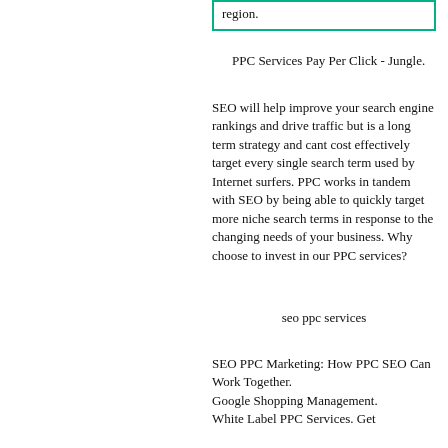region.
PPC Services Pay Per Click - Jungle.
SEO will help improve your search engine rankings and drive traffic but is a long term strategy and cant cost effectively target every single search term used by Internet surfers. PPC works in tandem with SEO by being able to quickly target more niche search terms in response to the changing needs of your business. Why choose to invest in our PPC services?
seo ppc services
SEO PPC Marketing: How PPC SEO Can Work Together.
Google Shopping Management.
White Label PPC Services. Get